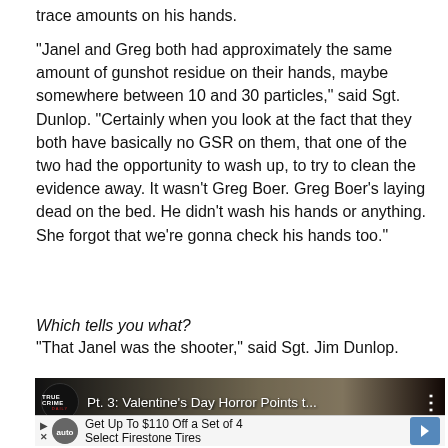trace amounts on his hands.
"Janel and Greg both had approximately the same amount of gunshot residue on their hands, maybe somewhere between 10 and 30 particles," said Sgt. Dunlop. "Certainly when you look at the fact that they both have basically no GSR on them, that one of the two had the opportunity to wash up, to try to clean the evidence away. It wasn't Greg Boer. Greg Boer's laying dead on the bed. He didn't wash his hands or anything. She forgot that we're gonna check his hands too."
Which tells you what?
"That Janel was the shooter," said Sgt. Jim Dunlop.
[Figure (screenshot): YouTube video thumbnail showing True Crime Daily video titled 'Pt. 3: Valentine's Day Horror Points t...' with a Firestone Tires advertisement overlay at the bottom reading 'Get Up To $110 Off a Set of 4 Select Firestone Tires']